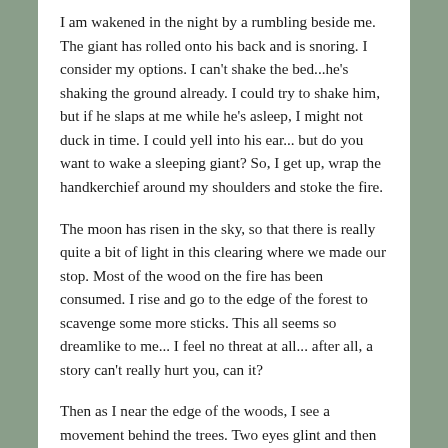I am wakened in the night by a rumbling beside me. The giant has rolled onto his back and is snoring. I consider my options. I can't shake the bed...he's shaking the ground already. I could try to shake him, but if he slaps at me while he's asleep, I might not duck in time. I could yell into his ear... but do you want to wake a sleeping giant? So, I get up, wrap the handkerchief around my shoulders and stoke the fire.
The moon has risen in the sky, so that there is really quite a bit of light in this clearing where we made our stop. Most of the wood on the fire has been consumed. I rise and go to the edge of the forest to scavenge some more sticks. This all seems so dreamlike to me... I feel no threat at all... after all, a story can't really hurt you, can it?
Then as I near the edge of the woods, I see a movement behind the trees. Two eyes glint and then are gone. A twig snaps somewhere nearby, but I